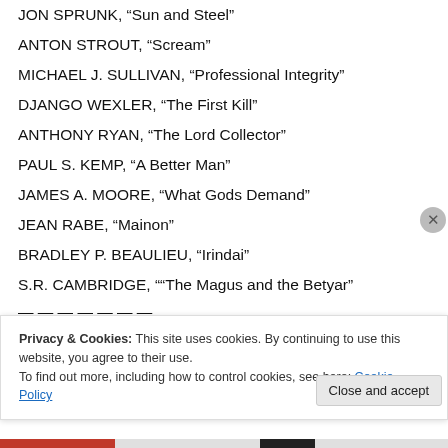JON SPRUNK, “Sun and Steel”
ANTON STROUT, “Scream”
MICHAEL J. SULLIVAN, “Professional Integrity”
DJANGO WEXLER, “The First Kill”
ANTHONY RYAN, “The Lord Collector”
PAUL S. KEMP, “A Better Man”
JAMES A. MOORE, “What Gods Demand”
JEAN RABE, “Mainon”
BRADLEY P. BEAULIEU, “Irindai”
S.R. CAMBRIDGE, ““The Magus and the Betyar”
Privacy & Cookies: This site uses cookies. By continuing to use this website, you agree to their use. To find out more, including how to control cookies, see here: Cookie Policy
Close and accept